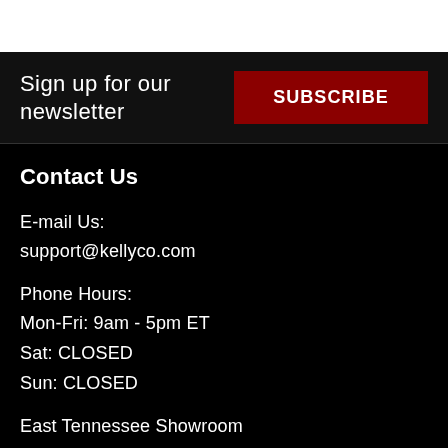Sign up for our newsletter
SUBSCRIBE
Contact Us
E-mail Us:
support@kellyco.com
Phone Hours:
Mon-Fri: 9am - 5pm ET
Sat: CLOSED
Sun: CLOSED
East Tennessee Showroom
120 Market Place Boulevard, Suite H
Knoxville, TN 37922